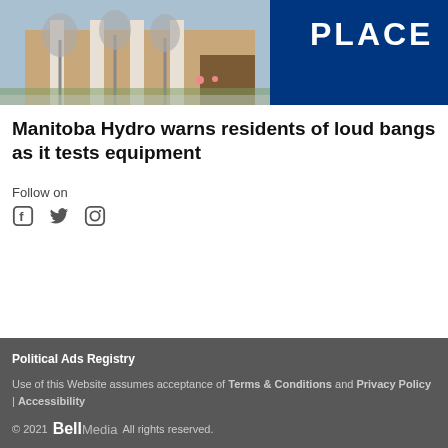[Figure (photo): Exterior photo of a building with trees and a blue sign reading PLACE]
Manitoba Hydro warns residents of loud bangs as it tests equipment
Follow on
[Figure (illustration): Social media icons: Facebook, Twitter, Instagram]
Political Ads Registry
Use of this Website assumes acceptance of Terms & Conditions and Privacy Policy | Accessibility
© 2021 Bell Media All rights reserved.